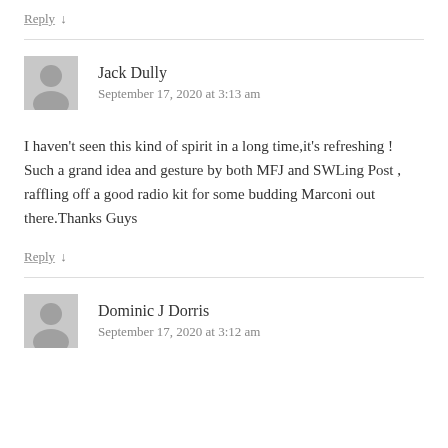Reply ↓
Jack Dully
September 17, 2020 at 3:13 am
I haven't seen this kind of spirit in a long time,it's refreshing ! Such a grand idea and gesture by both MFJ and SWLing Post , raffling off a good radio kit for some budding Marconi out there.Thanks Guys
Reply ↓
Dominic J Dorris
September 17, 2020 at 3:12 am